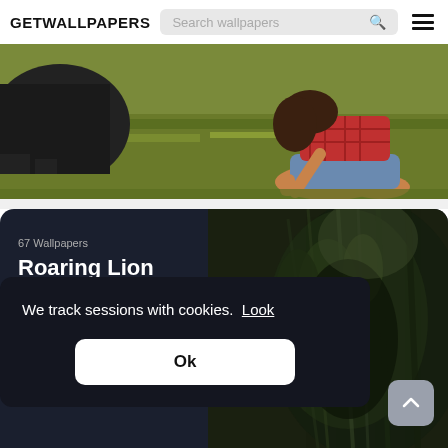GETWALLPAPERS  Search wallpapers  ☰
[Figure (photo): Outdoor photo of a girl in a red plaid shirt and denim shorts kneeling in grass, with a cow partially visible on the left.]
67 Wallpapers
Roaring Lion
[Figure (photo): Close-up photo of a lion's mane on a dark background, showing textured dark green/grey fur.]
We track sessions with cookies.  Look
Ok